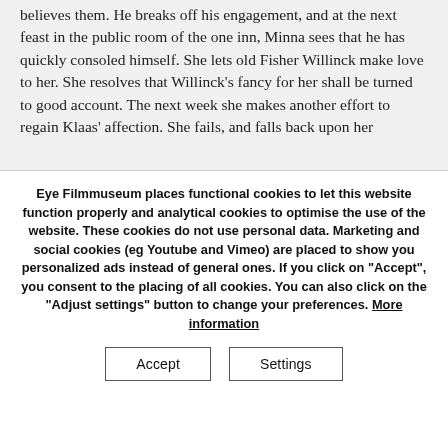believes them. He breaks off his engagement, and at the next feast in the public room of the one inn, Minna sees that he has quickly consoled himself. She lets old Fisher Willinck make love to her. She resolves that Willinck's fancy for her shall be turned to good account. The next week she makes another effort to regain Klaas' affection. She fails, and falls back upon her...
Eye Filmmuseum places functional cookies to let this website function properly and analytical cookies to optimise the use of the website. These cookies do not use personal data. Marketing and social cookies (eg Youtube and Vimeo) are placed to show you personalized ads instead of general ones. If you click on "Accept", you consent to the placing of all cookies. You can also click on the "Adjust settings" button to change your preferences. More information